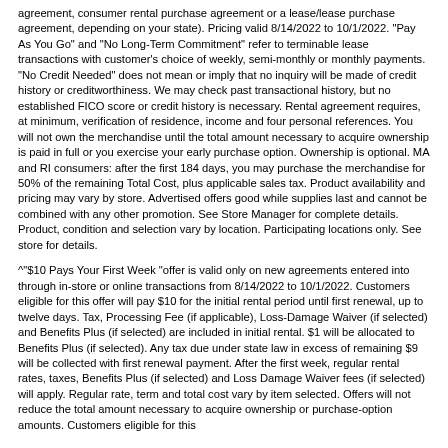agreement, consumer rental purchase agreement or a lease/lease purchase agreement, depending on your state). Pricing valid 8/14/2022 to 10/1/2022. "Pay As You Go" and "No Long-Term Commitment" refer to terminable lease transactions with customer's choice of weekly, semi-monthly or monthly payments. "No Credit Needed" does not mean or imply that no inquiry will be made of credit history or creditworthiness. We may check past transactional history, but no established FICO score or credit history is necessary. Rental agreement requires, at minimum, verification of residence, income and four personal references. You will not own the merchandise until the total amount necessary to acquire ownership is paid in full or you exercise your early purchase option. Ownership is optional. MA and RI consumers: after the first 184 days, you may purchase the merchandise for 50% of the remaining Total Cost, plus applicable sales tax. Product availability and pricing may vary by store. Advertised offers good while supplies last and cannot be combined with any other promotion. See Store Manager for complete details. Product, condition and selection vary by location. Participating locations only. See store for details.
^"$10 Pays Your First Week "offer is valid only on new agreements entered into through in-store or online transactions from 8/14/2022 to 10/1/2022. Customers eligible for this offer will pay $10 for the initial rental period until first renewal, up to twelve days. Tax, Processing Fee (if applicable), Loss-Damage Waiver (if selected) and Benefits Plus (if selected) are included in initial rental. $1 will be allocated to Benefits Plus (if selected). Any tax due under state law in excess of remaining $9 will be collected with first renewal payment. After the first week, regular rental rates, taxes, Benefits Plus (if selected) and Loss Damage Waiver fees (if selected) will apply. Regular rate, term and total cost vary by item selected. Offers will not reduce the total amount necessary to acquire ownership or purchase-option amounts. Customers eligible for this